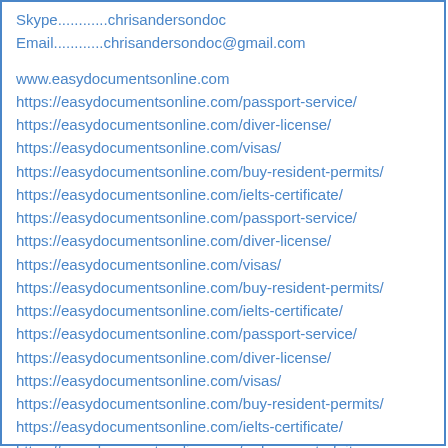Skype............chrisandersondoc
Email............chrisandersondoc@gmail.com
www.easydocumentsonline.com
https://easydocumentsonline.com/passport-service/
https://easydocumentsonline.com/diver-license/
https://easydocumentsonline.com/visas/
https://easydocumentsonline.com/buy-resident-permits/
https://easydocumentsonline.com/ielts-certificate/
https://easydocumentsonline.com/passport-service/
https://easydocumentsonline.com/diver-license/
https://easydocumentsonline.com/visas/
https://easydocumentsonline.com/buy-resident-permits/
https://easydocumentsonline.com/ielts-certificate/
https://easydocumentsonline.com/passport-service/
https://easydocumentsonline.com/diver-license/
https://easydocumentsonline.com/visas/
https://easydocumentsonline.com/buy-resident-permits/
https://easydocumentsonline.com/ielts-certificate/
https://easydocumentsonline.com/order-counterfeit-money-online/
www.easydocumentsonline.com
WhatsApp...+1(818)691-5919